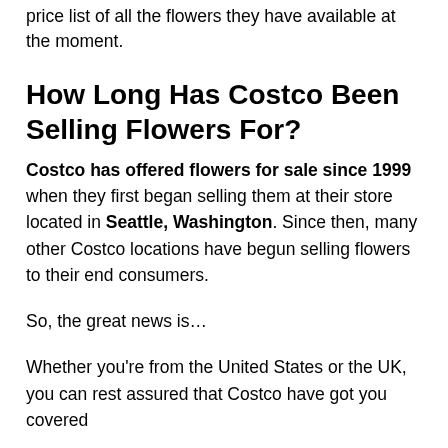price list of all the flowers they have available at the moment.
How Long Has Costco Been Selling Flowers For?
Costco has offered flowers for sale since 1999 when they first began selling them at their store located in Seattle, Washington. Since then, many other Costco locations have begun selling flowers to their end consumers.
So, the great news is…
Whether you're from the United States or the UK, you can rest assured that Costco have got you covered